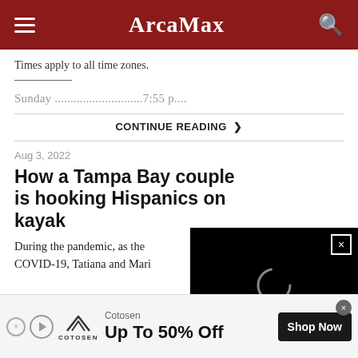ArcaMax
Times apply to all time zones.
Sunday ............................7:55 p....
CONTINUE READING ❯
Aug 3, 2022
How a Tampa Bay couple is hooking Hispanics on kayak
During the pandemic, as the COVID-19, Tatiana and Mari
[Figure (screenshot): Black video player overlay with close button (×) and loading circle indicator]
[Figure (infographic): Cotosen advertisement banner: mountain logo, 'Up To 50% Off', 'Shop Now' button]